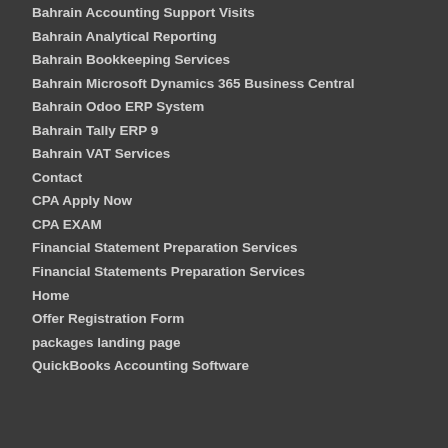Bahrain Accounting Support Visits
Bahrain Analytical Reporting
Bahrain Bookkeeping Services
Bahrain Microsoft Dynamics 365 Business Central
Bahrain Odoo ERP System
Bahrain Tally ERP 9
Bahrain VAT Services
Contact
CPA Apply Now
CPA EXAM
Financial Statement Preparation Services
Financial Statements Preparation Services
Home
Offer Registration Form
packages landing page
QuickBooks Accounting Software